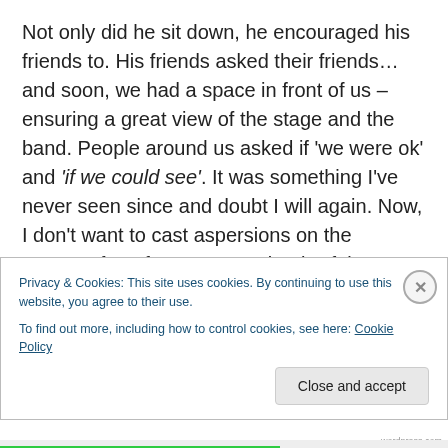Not only did he sit down, he encouraged his friends to. His friends asked their friends… and soon, we had a space in front of us – ensuring a great view of the stage and the band. People around us asked if 'we were ok' and 'if we could see'. It was something I've never seen since and doubt I will again. Now, I don't want to cast aspersions on the average fan of Ben Harper, but it's fair to say there was a lot of Red Stripe consumed and even more pre-gig smoking going on. But still – intoxicants aside –  when I think of Brixton, I think of these awesome people and what
Privacy & Cookies: This site uses cookies. By continuing to use this website, you agree to their use.
To find out more, including how to control cookies, see here: Cookie Policy